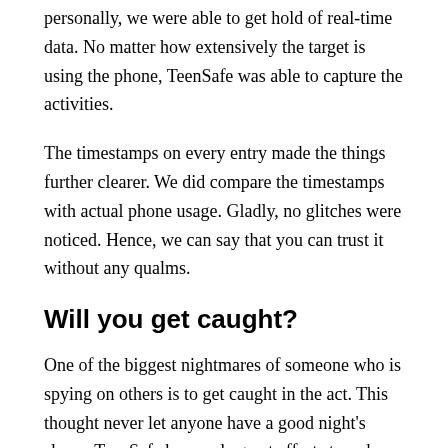personally, we were able to get hold of real-time data. No matter how extensively the target is using the phone, TeenSafe was able to capture the activities.
The timestamps on every entry made the things further clearer. We did compare the timestamps with actual phone usage. Gladly, no glitches were noticed. Hence, we can say that you can trust it without any qualms.
Will you get caught?
One of the biggest nightmares of someone who is spying on others is to get caught in the act. This thought never let anyone have a good night's sleep.  TeenSafe has made great efforts to reduce this fear.
Its Android solution comes with stealth mode. This mode hides the presence of the app on the targeted phone and